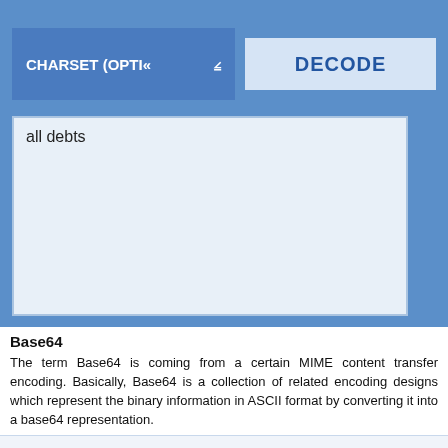[Figure (screenshot): CHARSET (OPTION) dropdown button and DECODE button in a blue toolbar area]
all debts
Base64
The term Base64 is coming from a certain MIME content transfer encoding. Basically, Base64 is a collection of related encoding designs which represent the binary information in ASCII format by converting it into a base64 representation.
www.base64decode.net uses cookies for personalization and functionality. By continuing using this website, you agree to our use of cookies. More info